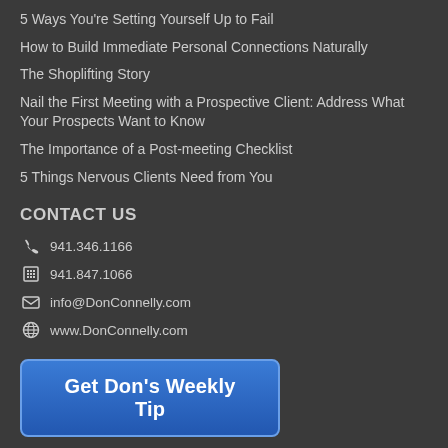5 Ways You're Setting Yourself Up to Fail
How to Build Immediate Personal Connections Naturally
The Shoplifting Story
Nail the First Meeting with a Prospective Client: Address What Your Prospects Want to Know
The Importance of a Post-meeting Checklist
5 Things Nervous Clients Need from You
CONTACT US
941.346.1166
941.847.1066
info@DonConnelly.com
www.DonConnelly.com
Get Don's Weekly Tip